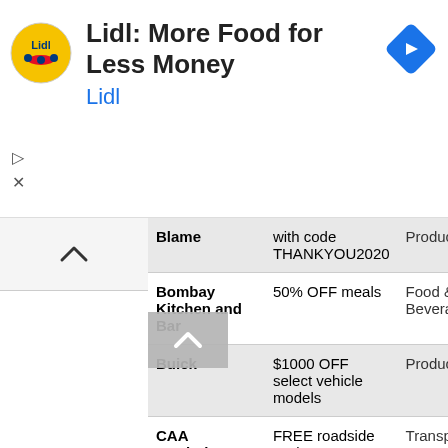[Figure (logo): Lidl advertisement banner with yellow circle logo, title 'Lidl: More Food for Less Money', subtitle 'Lidl', and blue diamond navigation icon]
| Brand | Offer | Category |
| --- | --- | --- |
| Blame | with code THANKYOU2020 | Produc... |
| Bombay Kitchen and Bar | 50% OFF meals | Food & Bevera... |
| Buick | $1000 OFF select vehicle models | Produc... |
| CAA Manitoba | FREE roadside assistance | Transp... |
| CAA South Central Ontario | FREE roadside assistance | Transp... |
| Cactus Club Cafe | $13.75 Meal Combo | Food & Bevera... |
| Cadillac | $1000 OFF select vehicle models | Produc... |
| Canadian Psychological Association | FREE psychological services | Servic... |